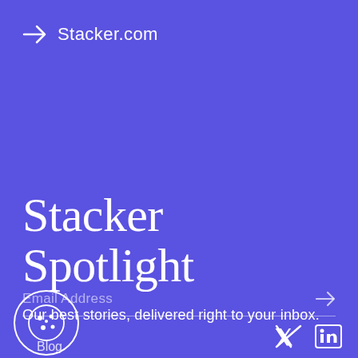Stacker.com
Stacker Spotlight
Our best stories, delivered right to your inbox.
Email Address
[Figure (illustration): Cookie consent icon — circular button with cookie icon]
Blog
[Figure (illustration): Twitter and LinkedIn social media icons]